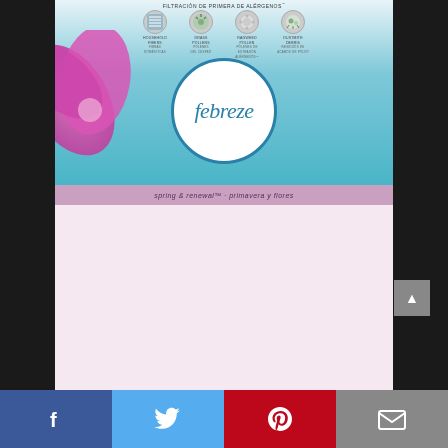[Figure (photo): Febreze branded vacuum bags packaging for Bissell Model 3267. Box shows Febreze logo in white circle on blue/teal background with pink flower decoration. Spring & Renewal scent. Claims first filtration of allergens including household fibers, grass pollens, ragweed pollen, and dustmite debris. Text reads: vacuum bags - bolsas para aspiradora. ELIMINATES ODORS AND FRESHENS AS YOU VACUUM. ELIMINA LOS MALOS OLORES Y REFRESCA A MEDIDA QUE PASA LA ASPIRADORA. BISSELL MODEL 3267. FITS UPRIGHT VACUUMS. PARA ASPIRADORAS VERTICALES. 3 BAGS/BOLSAS.]
FILTRACIÓN DE PRIMERA DE ALÉRGENOS
spring & renewal™ • primavera y flores
vacuum bags • bolsas para aspiradora
ELIMINATES ODORS AND FRESHENS AS YOU VACUUM
ELIMINA LOS MALOS OLORES Y REFRESCA A MEDIDA QUE PASA LA ASPIRADORA
BISSELL™ MODEL 3267
FITS UPRIGHT VACUUMS / PARA ASPIRADORAS VERTICALES
3 BAGS / BOLSAS